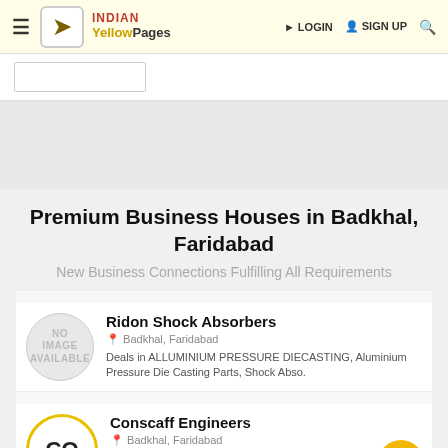INDIAN YellowPages — LOGIN   SIGN UP
Premium Business Houses in Badkhal, Faridabad
New Business Connections Fulfilling All Requirements
Ridon Shock Absorbers — Badkhal, Faridabad — Deals in ALLUMINIUM PRESSURE DIECASTING, Aluminium Pressure Die Casting Parts, Shock Abso.
Conscaff Engineers — Badkhal, Faridabad — Deals in Base Jack, Cuplock, Hardware Fitting, Right